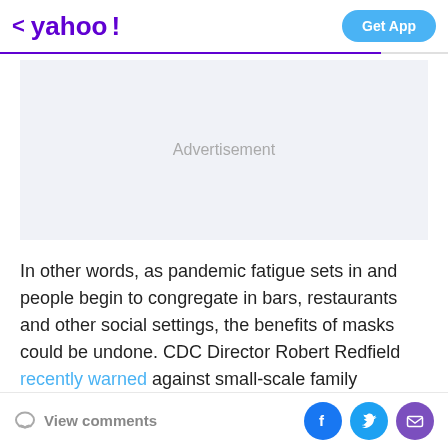< yahoo!  Get App
[Figure (other): Advertisement placeholder box with light gray background and 'Advertisement' label in gray text]
In other words, as pandemic fatigue sets in and people begin to congregate in bars, restaurants and other social settings, the benefits of masks could be undone. CDC Director Robert Redfield recently warned against small-scale family gatherings, which he said were contributing to the spread of the coronavirus.
View comments  [Facebook] [Twitter] [Email]